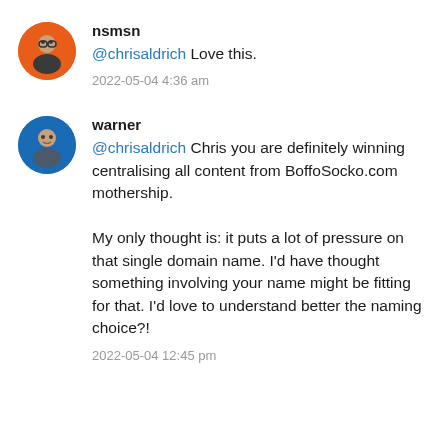[Figure (photo): Avatar of user nsmsn: circular photo of person with orange background]
nsmsn
@chrisaldrich Love this.
2022-05-04 4:36 am
[Figure (photo): Avatar of user warner: circular photo of person with blue background]
warner
@chrisaldrich Chris you are definitely winning centralising all content from BoffoSocko.com mothership.

My only thought is: it puts a lot of pressure on that single domain name. I'd have thought something involving your name might be fitting for that. I'd love to understand better the naming choice?!
2022-05-04 12:45 pm